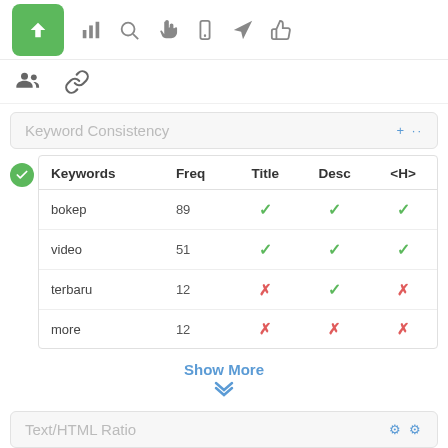[Figure (screenshot): Top navigation bar with a green arrow-up button and toolbar icons (bar chart, search, hand cursor, mobile, navigation, thumbs up)]
[Figure (screenshot): Second row with people group icon and chain/link icon]
Keyword Consistency
| Keywords | Freq | Title | Desc | <H> |
| --- | --- | --- | --- | --- |
| bokep | 89 | ✓ | ✓ | ✓ |
| video | 51 | ✓ | ✓ | ✓ |
| terbaru | 12 | ✗ | ✓ | ✗ |
| more | 12 | ✗ | ✗ | ✗ |
Show More
Text/HTML Ratio